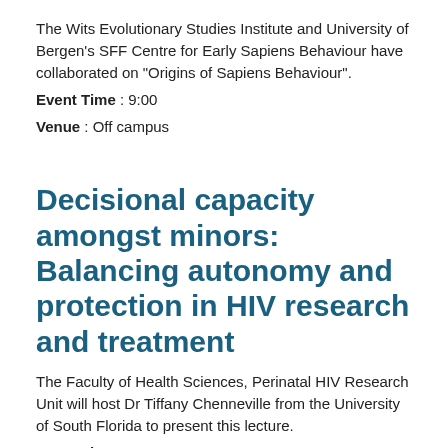The Wits Evolutionary Studies Institute and University of Bergen's SFF Centre for Early Sapiens Behaviour have collaborated on "Origins of Sapiens Behaviour".
Event Time : 9:00
Venue : Off campus
Decisional capacity amongst minors: Balancing autonomy and protection in HIV research and treatment
The Faculty of Health Sciences, Perinatal HIV Research Unit will host Dr Tiffany Chenneville from the University of South Florida to present this lecture.
Event Time : 12:00